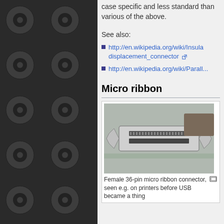case specific and less standard than various of the above.
See also:
http://en.wikipedia.org/wiki/Insulation_displacement_connector
http://en.wikipedia.org/wiki/Parall...
Micro ribbon
[Figure (photo): Female 36-pin micro ribbon connector, a physical connector with metal housing and locking clips on both sides, seen mounted on a surface.]
Female 36-pin micro ribbon connector, seen e.g. on printers before USB became a thing